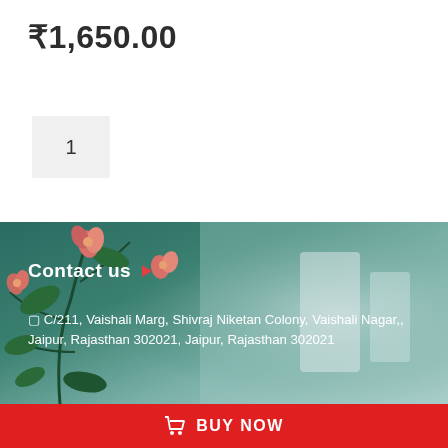₹1,650.00
1
[Figure (photo): Blurred background with pink flowers/plants on the left side and a grey interior on the right, used as footer background image]
Contact us ▶
⬜ C/211, Vaishali Marg, Shivraj Niketan Colony, Vaishali Nagar,, Jaipur, Rajasthan 302021, Jaipur, Rajasthan 302021
🛒 BUY NOW